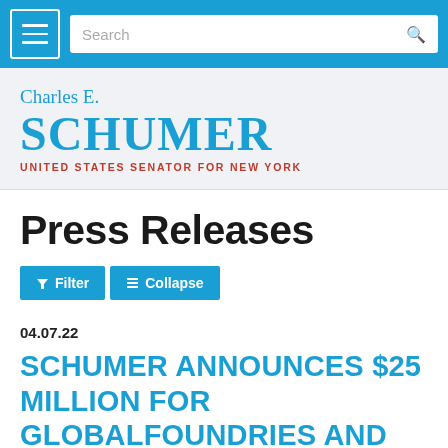Charles E. Schumer – United States Senator for New York – website navigation header with search bar
[Figure (logo): Charles E. Schumer United States Senator for New York official logo/wordmark in blue with red subtitle]
Press Releases
Filter   Collapse
04.07.22
SCHUMER ANNOUNCES $25 MILLION FOR GLOBALFOUNDRIES AND